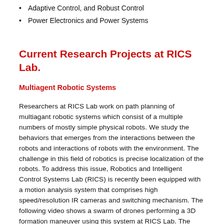Adaptive Control, and Robust Control
Power Electronics and Power Systems
Current Research Projects at RICS Lab.
Multiagent Robotic Systems
Researchers at RICS Lab work on path planning of multiagant robotic systems which consist of a multiple numbers of mostly simple physical robots. We study the behaviors that emerges from the interactions between the robots and interactions of robots with the environment. The challenge in this field of robotics is precise localization of the robots. To address this issue, Robotics and Intelligent Control Systems Lab (RICS) is recently been equipped with a motion analysis system that comprises high speed/resolution IR cameras and switching mechanism. The following video shows a swarm of drones performing a 3D formation maneuver using this system at RICS Lab. The ultimate goal for this system is to implement advanced path planning methods using the game theory.